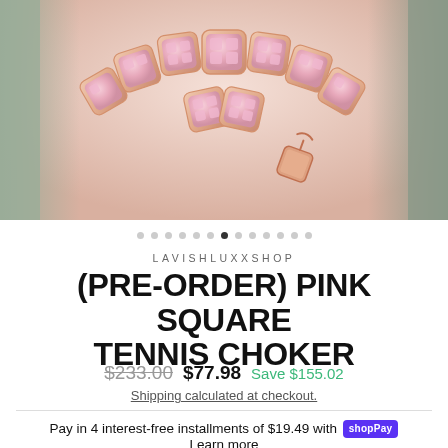[Figure (photo): Close-up photo of a pink rose gold square tennis choker necklace with pink crystals, shown on a model. Side panels show the model's torso/hands in olive clothing.]
LAVISHLUXXSHOP
(PRE-ORDER) PINK SQUARE TENNIS CHOKER
$233.00  $77.98  Save $155.02
Shipping calculated at checkout.
Pay in 4 interest-free installments of $19.49 with shop Pay
Learn more